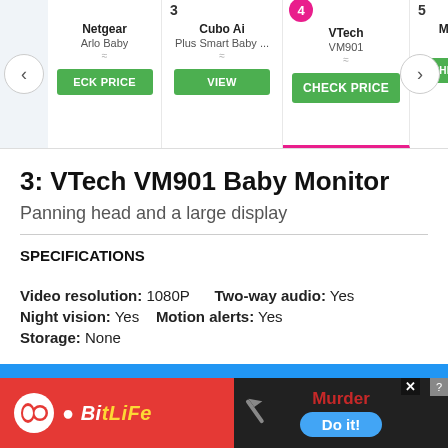[Figure (screenshot): Product comparison carousel showing baby monitor rankings: Netgear Arlo Baby, 3 Cubo Ai Plus Smart Baby, 4 VTech VM901 (active/selected), 5 Motorola. Navigation arrows on left and right. Green buttons: CHECK PRICE, VIEW, CHECK PRICE, CHECK PRICE.]
3: VTech VM901 Baby Monitor
Panning head and a large display
SPECIFICATIONS
Video resolution: 1080P     Two-way audio: Yes
Night vision: Yes     Motion alerts: Yes
Storage: None
Looks like you're in the US! Visit Digital
[Figure (screenshot): BitLife advertisement banner on the left (red background) and a Murder/Do it! game ad on the right (dark background).]